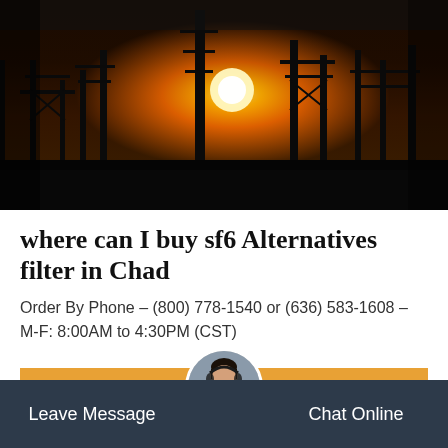[Figure (photo): Silhouette of industrial electrical substation infrastructure against a dramatic orange sunset sky]
where can I buy sf6 Alternatives filter in Chad
Order By Phone – (800) 778-1540 or (636) 583-1608 – M-F: 8:00AM to 4:30PM (CST)
Get Price
Leave Message
Chat Online